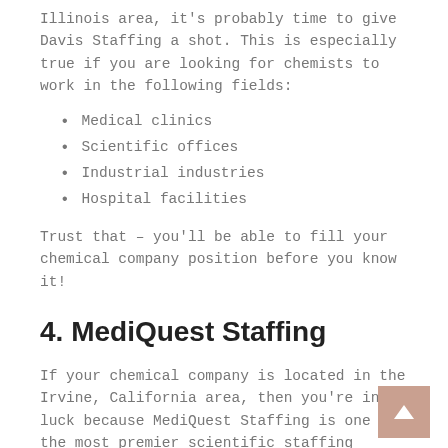Illinois area, it's probably time to give Davis Staffing a shot. This is especially true if you are looking for chemists to work in the following fields:
Medical clinics
Scientific offices
Industrial industries
Hospital facilities
Trust that – you'll be able to fill your chemical company position before you know it!
4. MediQuest Staffing
If your chemical company is located in the Irvine, California area, then you're in luck because MediQuest Staffing is one of the most premier scientific staffing companies around. That's why they've